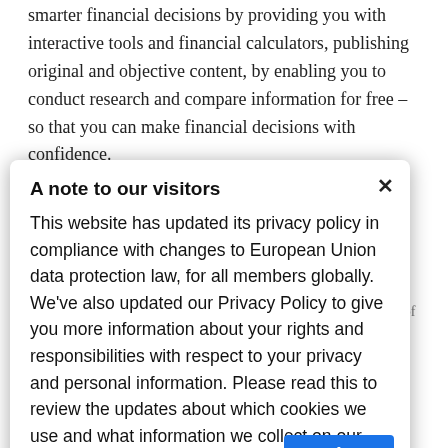smarter financial decisions by providing you with interactive tools and financial calculators, publishing original and objective content, by enabling you to conduct research and compare information for free – so that you can make financial decisions with confidence.
Bankrate has partnerships with issuers including, but not limited to, American Express, Bank of America, ... companies that compensate us. This compensation may impact how and where products appear on this site, including, for example, the order in which they may appear within the listing categories of Bankrate Compensation ... reviews that you see on this site. We do not include the universe of companies or financial offers that may be available to you. At Bankrate we strive to help you make smarter ... strict editorial integrity this post may contain
A note to our visitors
This website has updated its privacy policy in compliance with changes to European Union data protection law, for all members globally. We've also updated our Privacy Policy to give you more information about your rights and responsibilities with respect to your privacy and personal information. Please read this to review the updates about which cookies we use and what information we collect on our site. By continuing to use this site, you are agreeing to our updated privacy policy.
I agree